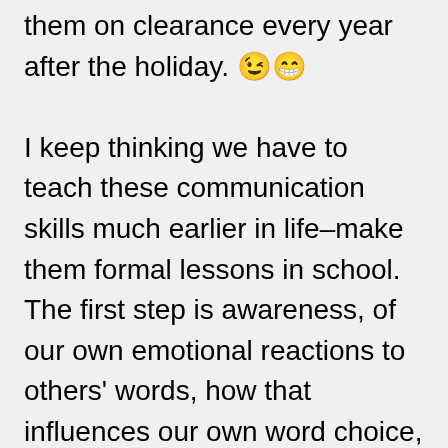them on clearance every year after the holiday. 😉😁 I keep thinking we have to teach these communication skills much earlier in life–make them formal lessons in school. The first step is awareness, of our own emotional reactions to others' words, how that influences our own word choice, and then the impact of our words on others. The words we choose matter so much more than we realize. I can hear in my head some people arguing that we just need to suck it up and be less sensitive, less PC. But I observe that those same people are the ones not only perpetrating the 'you suck' attitude, but also incensed and riled